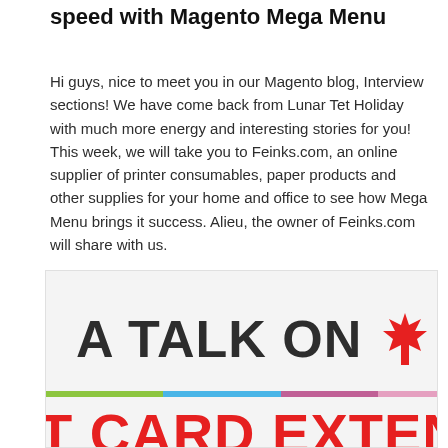speed with Magento Mega Menu
Hi guys, nice to meet you in our Magento blog, Interview sections! We have come back from Lunar Tet Holiday with much more energy and interesting stories for you! This week, we will take you to Feinks.com, an online supplier of printer consumables, paper products and other supplies for your home and office to see how Mega Menu brings it success. Alieu, the owner of Feinks.com will share with us.
[Figure (illustration): Promotional banner image with large bold text reading 'A TALK ON' in dark gray, with a maple leaf icon on the right, a multicolored horizontal bar (green, blue, purple, pink), and large red text reading 'CARD EXTENS' at the bottom.]